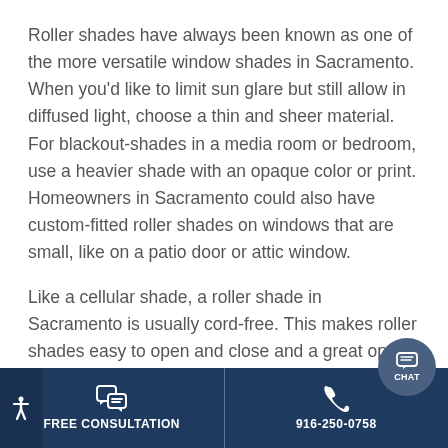Roller shades have always been known as one of the more versatile window shades in Sacramento. When you'd like to limit sun glare but still allow in diffused light, choose a thin and sheer material. For blackout-shades in a media room or bedroom, use a heavier shade with an opaque color or print. Homeowners in Sacramento could also have custom-fitted roller shades on windows that are small, like on a patio door or attic window.
Like a cellular shade, a roller shade in Sacramento is usually cord-free. This makes roller shades easy to open and close and a great option for families with kids or pets. The window shade lies flush
FREE CONSULTATION | 916-250-0758 | CHAT